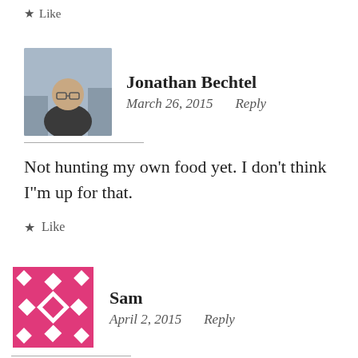★ Like
Jonathan Bechtel
March 26, 2015   Reply
Not hunting my own food yet. I don't think I"m up for that.
★ Like
Sam
April 2, 2015   Reply